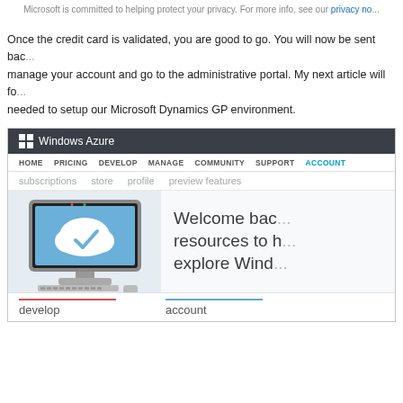Microsoft is committed to helping protect your privacy. For more info, see our privacy no...
Once the credit card is validated, you are good to go. You will now be sent back to manage your account and go to the administrative portal. My next article will focus on the steps needed to setup our Microsoft Dynamics GP environment.
[Figure (screenshot): Windows Azure portal screenshot showing the navigation bar with HOME, PRICING, DEVELOP, MANAGE, COMMUNITY, SUPPORT, ACCOUNT tabs; a sub-navigation with subscriptions, store, profile, preview features; a welcome back screen with a cloud illustration on a monitor graphic on the left and 'Welcome back... resources to h... explore Windo...' text on the right; and at the bottom 'develop' and 'account' links with colored underlines.]